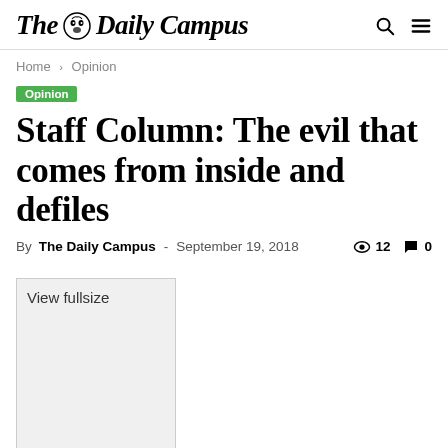The Daily Campus
Home › Opinion
Opinion
Staff Column: The evil that comes from inside and defiles
By The Daily Campus - September 19, 2018  👁 12  💬 0
[Figure (other): Image placeholder with 'View fullsize' label, light gray rectangular box]